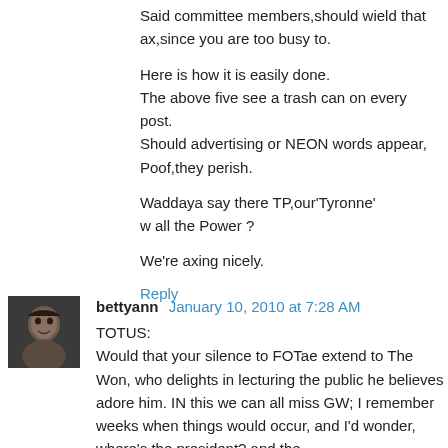Said committee members,should wield that ax,since you are too busy to.
Here is how it is easily done.
The above five see a trash can on every post.
Should advertising or NEON words appear,
Poof,they perish.
Waddaya say there TP,our'Tyronne'
w all the Power ?
We're axing nicely.
Reply
bettyann January 10, 2010 at 7:28 AM
TOTUS:
Would that your silence to FOTae extend to The Won, who delights in lecturing the public he believes adore him. IN this we can all miss GW; I remember weeks when things would occur, and I'd wonder, where's the president? and the